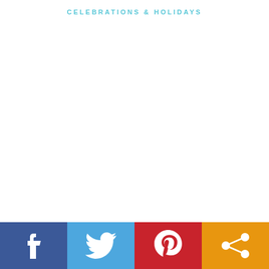CELEBRATIONS & HOLIDAYS
[Figure (infographic): Social media share bar with four buttons: Facebook (blue), Twitter (light blue), Pinterest (red), Share/other (orange), each with white icons]
[Figure (infographic): Facebook icon - white letter f on dark blue background]
[Figure (infographic): Twitter bird icon on light blue background]
[Figure (infographic): Pinterest P icon on red background]
[Figure (infographic): Share/network icon on orange background]